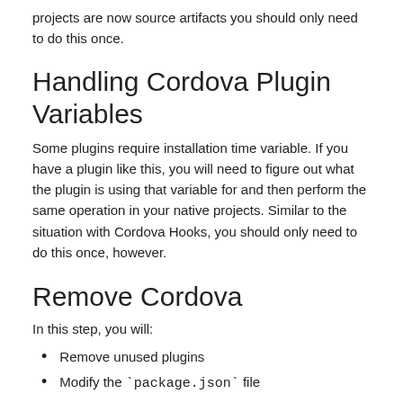projects are now source artifacts you should only need to do this once.
Handling Cordova Plugin Variables
Some plugins require installation time variable. If you have a plugin like this, you will need to figure out what the plugin is using that variable for and then perform the same operation in your native projects. Similar to the situation with Cordova Hooks, you should only need to do this once, however.
Remove Cordova
In this step, you will:
Remove unused plugins
Modify the `package.json` file
Remove unused files from the filesystem
Remove Unused Plugins